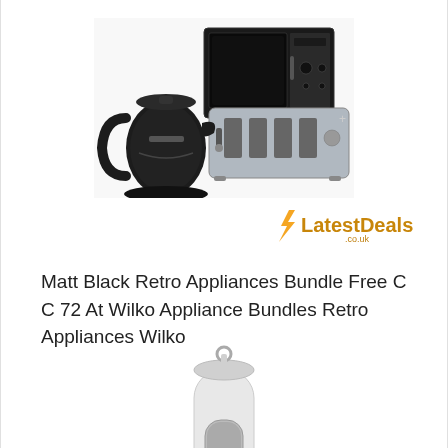[Figure (photo): Photo of matt black retro kitchen appliances bundle including a kettle, toaster, and microwave]
[Figure (logo): LatestDeals.co.uk logo with orange lightning bolt and text]
Matt Black Retro Appliances Bundle Free C C 72 At Wilko Appliance Bundles Retro Appliances Wilko
[Figure (photo): Photo of a white hand blender / stick blender appliance]